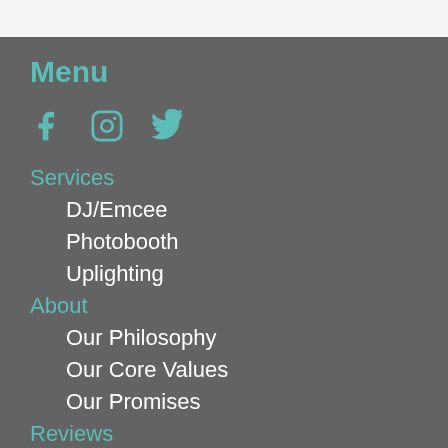Menu
[Figure (infographic): Social media icons: Facebook, Instagram, Twitter in teal color]
Services
DJ/Emcee
Photobooth
Uplighting
About
Our Philosophy
Our Core Values
Our Promises
Reviews